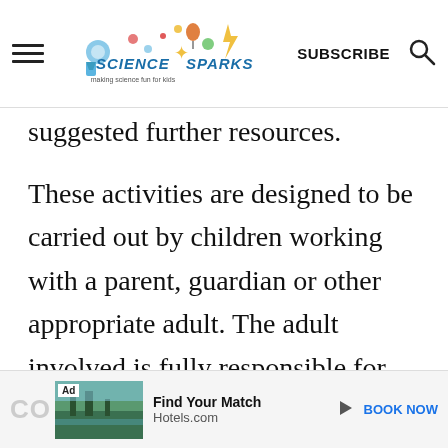Science Sparks | SUBSCRIBE
suggested further resources.
These activities are designed to be carried out by children working with a parent, guardian or other appropriate adult. The adult involved is fully responsible for ensuring that the activities are carried out safely.
[Figure (screenshot): Ad bar at bottom: Hotels.com advertisement with image, Find Your Match text, and BOOK NOW link]